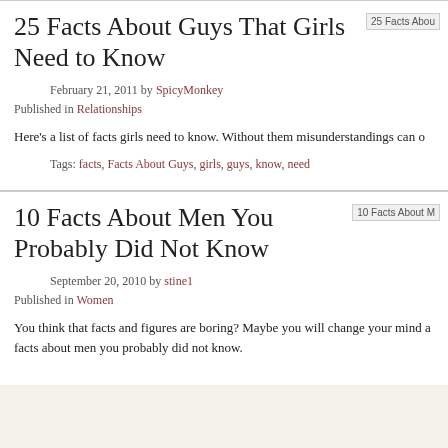25 Facts About Guys That Girls Need to Know
February 21, 2011 by SpicyMonkey
Published in Relationships
Here's a list of facts girls need to know. Without them misunderstandings can o
Tags: facts, Facts About Guys, girls, guys, know, need
10 Facts About Men You Probably Did Not Know
September 20, 2010 by stine1
Published in Women
You think that facts and figures are boring? Maybe you will change your mind a facts about men you probably did not know.